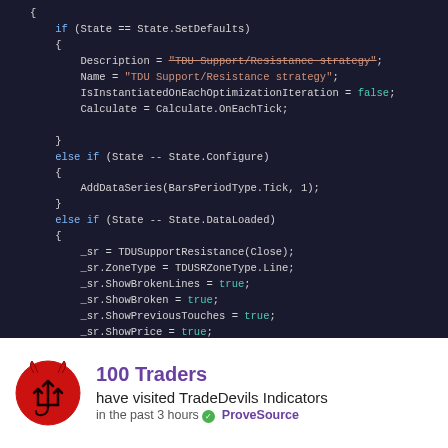[Figure (screenshot): A dark-themed code editor screenshot showing C# NinjaTrader strategy code with TDU Support/Resistance configuration including SetDefaults, Configure, and DataLoaded states, and OnBarUpdate method signature.]
100 Traders have visited TradeDevils Indicators in the past 3 hours ✓ ProveSource